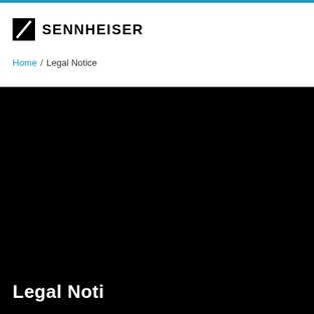[Figure (logo): Sennheiser logo with stylized S slash icon and SENNHEISER wordmark]
Home / Legal Notice
[Figure (photo): Large dark/black hero image with white text 'Legal Notice' partially visible at the bottom]